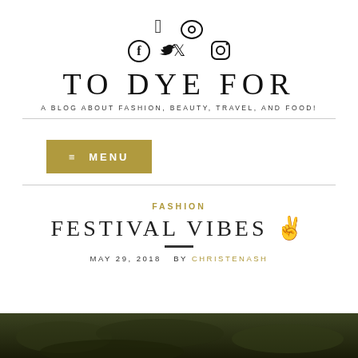Social icons: Facebook, Twitter, Instagram
TO DYE FOR
A BLOG ABOUT FASHION, BEAUTY, TRAVEL, AND FOOD!
≡ MENU
FASHION
FESTIVAL VIBES ✌
MAY 29, 2018  BY CHRISTENASH
[Figure (photo): Dark green outdoor background photo at bottom of page]